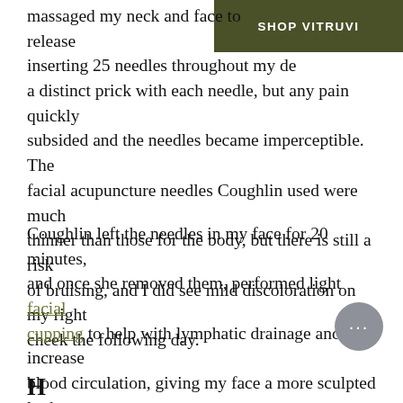[Figure (other): Dark olive green banner in top-right corner with white bold text reading SHOP VITRUVI]
massaged my neck and face to release inserting 25 needles throughout my de a distinct prick with each needle, but any pain quickly subsided and the needles became imperceptible. The facial acupuncture needles Coughlin used were much thinner than those for the body, but there is still a risk of bruising, and I did see mild discoloration on my right cheek the following day.
Coughlin left the needles in my face for 20 minutes, and once she removed them, performed light facial cupping to help with lymphatic drainage and increase blood circulation, giving my face a more sculpted look and helping with detoxification. Coughlin usually pairs facial acupuncture with either cupping or gua sh depending on a client's needs and constitution.
[Figure (other): Gray circular chat bubble button with ellipsis (…) in white]
Ho…ft…l…t f…t b…